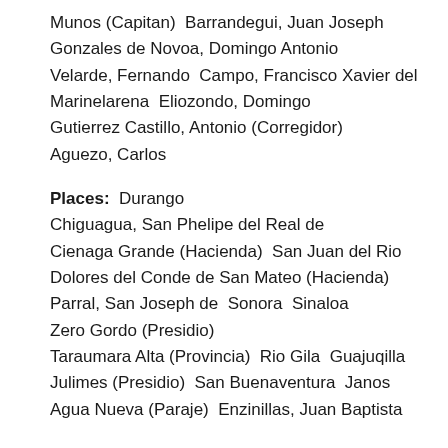Munos (Capitan)  Barrandegui, Juan Joseph Gonzales de Novoa, Domingo Antonio Velarde, Fernando  Campo, Francisco Xavier del Marinelarena  Eliozondo, Domingo Gutierrez Castillo, Antonio (Corregidor) Aguezo, Carlos
Places:  Durango Chiguagua, San Phelipe del Real de Cienaga Grande (Hacienda)  San Juan del Rio Dolores del Conde de San Mateo (Hacienda) Parral, San Joseph de  Sonora  Sinaloa Zero Gordo (Presidio) Taraumara Alta (Provincia)  Rio Gila  Guajuqilla Julimes (Presidio)  San Buenaventura  Janos Agua Nueva (Paraje)  Enzinillas, Juan Baptista